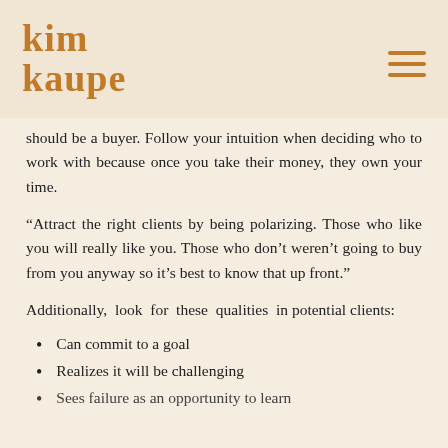kim kaupe
should be a buyer. Follow your intuition when deciding who to work with because once you take their money, they own your time.
“Attract the right clients by being polarizing. Those who like you will really like you. Those who don’t weren’t going to buy from you anyway so it’s best to know that up front.”
Additionally, look for these qualities in potential clients:
Can commit to a goal
Realizes it will be challenging
Sees failure as an opportunity to learn